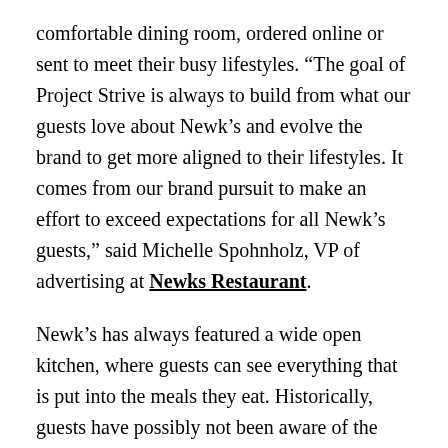comfortable dining room, ordered online or sent to meet their busy lifestyles. “The goal of Project Strive is always to build from what our guests love about Newk’s and evolve the brand to get more aligned to their lifestyles. It comes from our brand pursuit to make an effort to exceed expectations for all Newk’s guests,” said Michelle Spohnholz, VP of advertising at Newks Restaurant.
Newk’s has always featured a wide open kitchen, where guests can see everything that is put into the meals they eat. Historically, guests have possibly not been aware of the brand’s dedication to fresh preparation and careful ingredient selection. The new prototype features an updated red soffit that reflects the tagline, “Our Kitchen is definitely an Open Book” and many fun details about the ingredients and preparation methods.